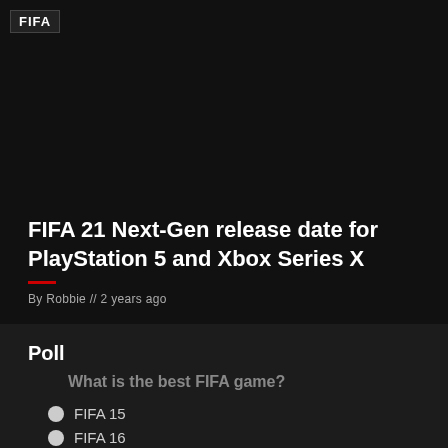[Figure (other): Dark header band with FIFA logo badge in top left corner]
FIFA 21 Next-Gen release date for PlayStation 5 and Xbox Series X
By Robbie // 2 years ago
Poll
What is the best FIFA game?
FIFA 15
FIFA 16
FIFA 17
FIFA 18
FIFA 19
FIFA 20